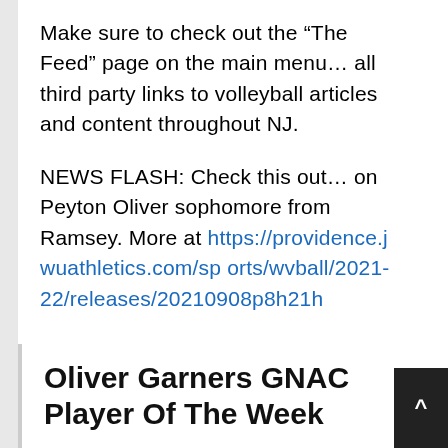Make sure to check out the “The Feed” page on the main menu… all third party links to volleyball articles and content throughout NJ.
NEWS FLASH: Check this out… on Peyton Oliver sophomore from Ramsey. More at https://providence.jwuathletics.com/sports/wvball/2021-22/releases/20210908p8h21h
Oliver Garners GNAC Player Of The Week